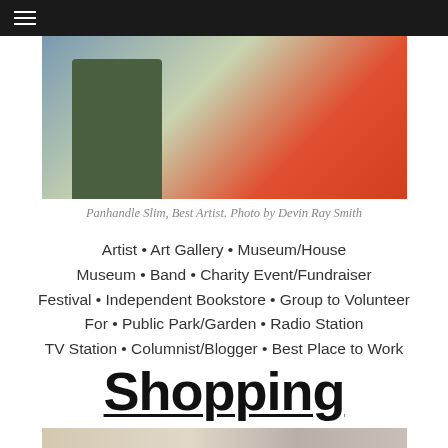☰
[Figure (photo): Panhandle Slim, Best Artist standing in front of colorful artwork/signage]
Panhandle Slim, Best Artist. Photo by Devin Ray Smith
Artist • Art Gallery • Museum/House Museum • Band • Charity Event/Fundraiser Festival • Independent Bookstore • Group to Volunteer For • Public Park/Garden • Radio Station TV Station • Columnist/Blogger • Best Place to Work
Shopping
[Figure (photo): Interior shopping scene with shelving and store display]